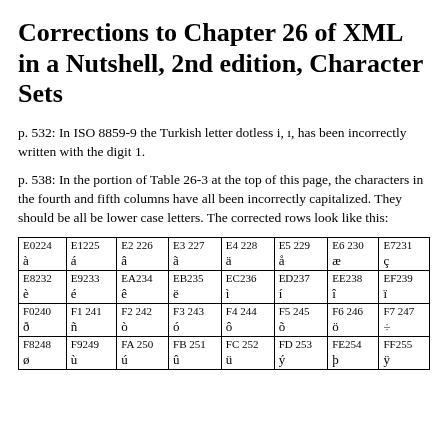Corrections to Chapter 26 of XML in a Nutshell, 2nd edition, Character Sets
p. 532: In ISO 8859-9 the Turkish letter dotless i, ı, has been incorrectly written with the digit 1.
p. 538: In the portion of Table 26-3 at the top of this page, the characters in the fourth and fifth columns have all been incorrectly capitalized. They should be all be lower case letters. The corrected rows look like this:
| E0224
à | E1225
á | E2 226
â | E3 227
ã | E4 228
ä | E5 229
å | E6 230
æ | E7231
ç |
| E8232
è | E9233
é | EA234
ê | EB235
ë | EC236
ì | ED237
í | EE238
î | EF239
ï |
| F0240
ð | F1 241
ñ | F2 242
ò | F3 243
ó | F4 244
ô | F5 245
õ | F6 246
ö | F7 247
÷ |
| F8248
ø | F9249
ù | FA 250
ú | FB 251
û | FC 252
ü | FD 253
ý | FE254
þ | FF255
ÿ |